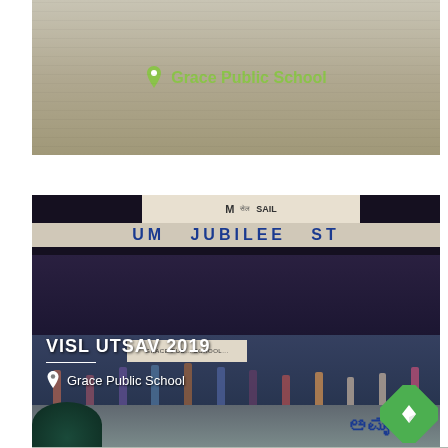[Figure (photo): Top portion of a photo showing a light-colored wall or exterior, with a location pin icon and 'Grace Public School' text in green]
Grace Public School
[Figure (photo): Photo of a stage performance at JUBILEE ST[ADIUM], with students performing on stage in traditional Indian dress. Overlay text: VISL UTSAV 2019, Grace Public School]
VISL UTSAV 2019
Grace Public School
[Figure (photo): Bottom portion showing S.J.STADIUM sign with Kannada text]